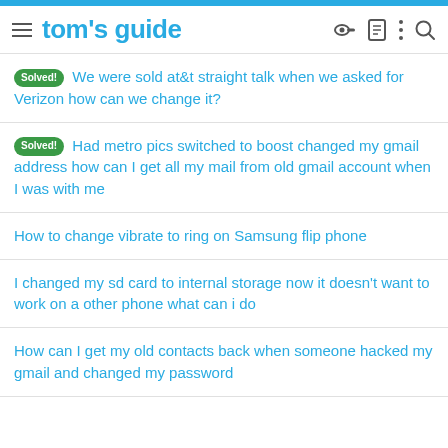tom's guide
Solved! We were sold at&t straight talk when we asked for Verizon how can we change it?
Solved! Had metro pics switched to boost changed my gmail address how can I get all my mail from old gmail account when I was with me
How to change vibrate to ring on Samsung flip phone
I changed my sd card to internal storage now it doesn't want to work on a other phone what can i do
How can I get my old contacts back when someone hacked my gmail and changed my password